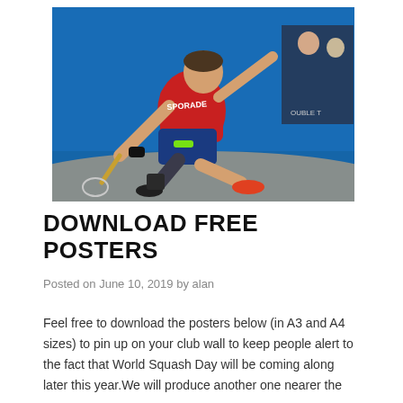[Figure (photo): A squash player in a red and blue outfit lunging low to hit a ball on a squash court, with spectators visible in the background against a blue-lit court wall.]
DOWNLOAD FREE POSTERS
Posted on June 10, 2019 by alan
Feel free to download the posters below (in A3 and A4 sizes) to pin up on your club wall to keep people alert to the fact that World Squash Day will be coming along later this year.We will produce another one nearer the